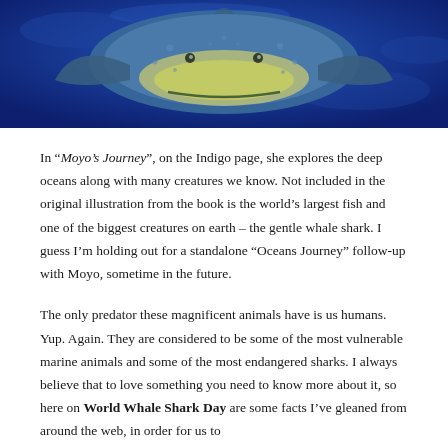[Figure (illustration): Illustration of a whale shark from above/front angle on a deep blue ocean background, showing the shark's wide flat head, pectoral fins, and yellowish-green underside markings.]
In “Moyo’s Journey”, on the Indigo page, she explores the deep oceans along with many creatures we know. Not included in the original illustration from the book is the world’s largest fish and one of the biggest creatures on earth – the gentle whale shark. I guess I’m holding out for a standalone “Oceans Journey” follow-up with Moyo, sometime in the future.
The only predator these magnificent animals have is us humans. Yup. Again. They are considered to be some of the most vulnerable marine animals and some of the most endangered sharks. I always believe that to love something you need to know more about it, so here on World Whale Shark Day are some facts I’ve gleaned from around the web, in order for us to